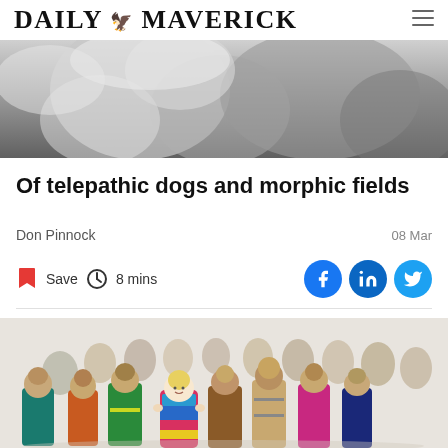DAILY MAVERICK
[Figure (photo): Black and white photo of a person with a dog, close-up portrait]
Of telepathic dogs and morphic fields
Don Pinnock
08 Mar
Save  8 mins
[Figure (photo): Colorful knitted and fabric dolls of various sizes arranged in a group, with a prominently placed yellow-haired doll in the center front wearing a multicolored knitted dress]